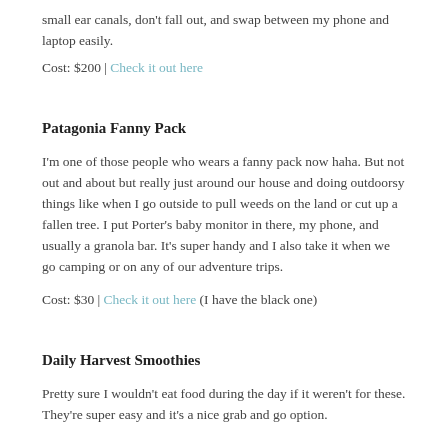small ear canals, don't fall out, and swap between my phone and laptop easily.
Cost: $200 | Check it out here
Patagonia Fanny Pack
I'm one of those people who wears a fanny pack now haha. But not out and about but really just around our house and doing outdoorsy things like when I go outside to pull weeds on the land or cut up a fallen tree. I put Porter's baby monitor in there, my phone, and usually a granola bar. It's super handy and I also take it when we go camping or on any of our adventure trips.
Cost: $30 | Check it out here (I have the black one)
Daily Harvest Smoothies
Pretty sure I wouldn't eat food during the day if it weren't for these. They're super easy and it's a nice grab and go option.